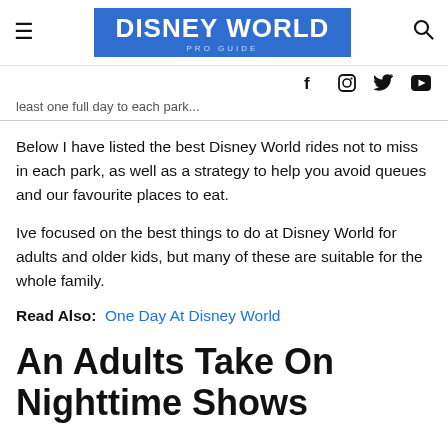DISNEY WORLD PRO GUIDE
least one full day to each park...
Below I have listed the best Disney World rides not to miss in each park, as well as a strategy to help you avoid queues and our favourite places to eat.
Ive focused on the best things to do at Disney World for adults and older kids, but many of these are suitable for the whole family.
Read Also: One Day At Disney World
An Adults Take On Nighttime Shows